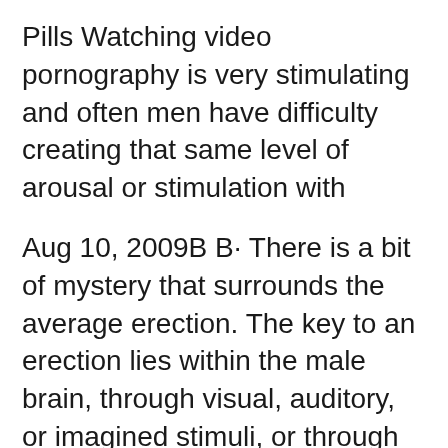Pills Watching video pornography is very stimulating and often men have difficulty creating that same level of arousal or stimulation with
Aug 10, 2009B B· There is a bit of mystery that surrounds the average erection. The key to an erection lies within the male brain, through visual, auditory, or imagined stimuli, or through manual stimulation. Upon stimulation, the arteries within the penis relax, and blood flows into the penis at more than 20 times the normal rate. The spongy [вЂ¦] If you have erectile dysfunction, your doctor has tests to help you find the right treatment. Learn about the different